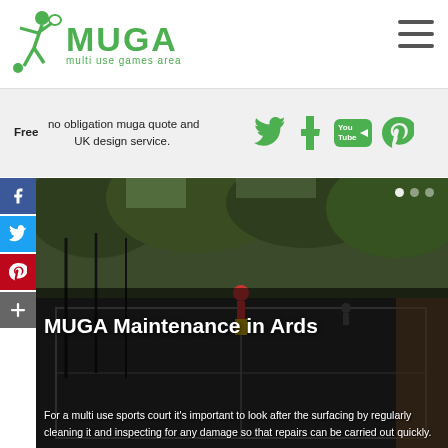[Figure (logo): MUGA logo with running figure icon and text 'MUGA multi use games area' in green]
[Figure (infographic): Hamburger/menu icon (three horizontal bars) in top right corner]
Free no obligation muga quote and UK design service.
[Figure (infographic): Social media icons: Twitter bird, Tumblr t, YouTube logo, Pinterest P in green on light grey background]
[Figure (infographic): Side social media share buttons: Facebook (blue), Twitter (blue), Pinterest (red), Add/plus (grey)]
[Figure (photo): Outdoor multi-use games area / sports court photo showing a tarmac court with fencing, trees in background, and people on court]
MUGA Maintenance in Ards
For a multi use sports court it's important to look after the surfacing by regularly cleaning it and inspecting for any damage so that repairs can be carried out quickly.